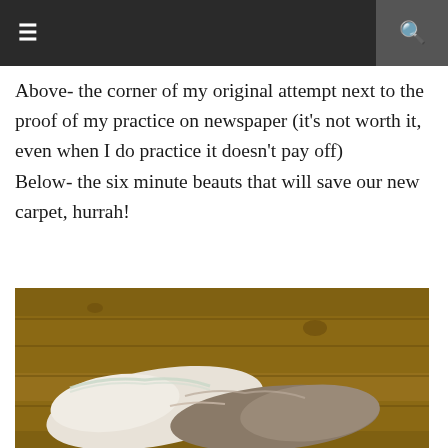≡  🔍
Above- the corner of my original attempt next to the proof of my practice on newspaper (it's not worth it, even when I do practice it doesn't pay off)
Below- the six minute beauts that will save our new carpet, hurrah!
[Figure (photo): Two handmade felt or fabric slippers/shoes with lace trim resting on a wooden floor. One is white/cream with lace edging and the other is grey/brown. They appear to be handcrafted shoe inner soles or soft slippers.]